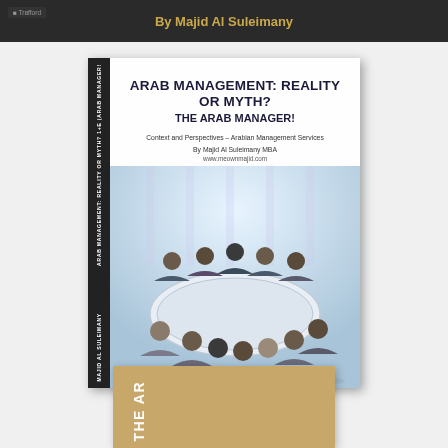By Majid Al Suleimany
[Figure (illustration): Book cover for 'Arab Management: Reality or Myth? The Arab Manager!' by Majid Al Suleimany MBA. Cover shows a group of business people sitting around a round conference table in a bright office setting. Spine text reads 'ARAB MANAGEMENT: REALITY OR MYTH? 1+E (ARAB MANAGER!' and 'MAJID AL SULEIMANY'. Subtitle: Context and Perspectives – Arabian Management Services By Majid Al Suleimany MBA. Website: www.meownmajid.com]
[Figure (illustration): Bottom portion of a second book with tan/gold cover spine showing partial text 'THE AR...']